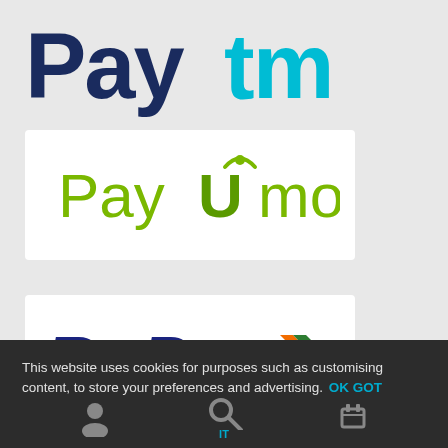[Figure (logo): Paytm logo — 'Pay' in dark navy bold and 'tm' in light blue bold, large text on gray background]
[Figure (logo): PayUmoney logo on white card — 'Pay' in green, 'U' stylized with arrow in green, 'money' in green text]
[Figure (logo): RuPay logo on white card — 'RuPay' in dark blue italic bold with orange and green chevron arrows]
This website uses cookies for purposes such as customising content, to store your preferences and advertising.  OK GOT IT